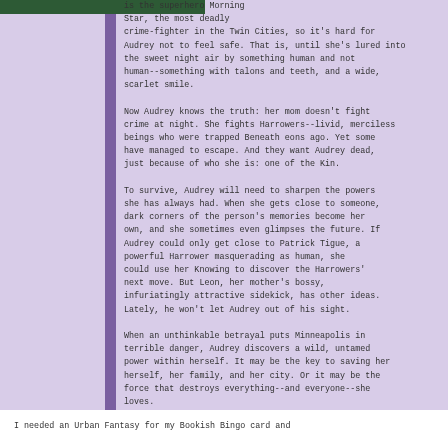[Figure (photo): Partial image at top left, appears to be a dark photograph partially visible]
is the superhero Morning Star, the most deadly crime-fighter in the Twin Cities, so it's hard for Audrey not to feel safe. That is, until she's lured into the sweet night air by something human and not human--something with talons and teeth, and a wide, scarlet smile.

Now Audrey knows the truth: her mom doesn't fight crime at night. She fights Harrowers--livid, merciless beings who were trapped Beneath eons ago. Yet some have managed to escape. And they want Audrey dead, just because of who she is: one of the Kin.

To survive, Audrey will need to sharpen the powers she has always had. When she gets close to someone, dark corners of the person's memories become her own, and she sometimes even glimpses the future. If Audrey could only get close to Patrick Tigue, a powerful Harrower masquerading as human, she could use her Knowing to discover the Harrowers' next move. But Leon, her mother's bossy, infuriatingly attractive sidekick, has other ideas. Lately, he won't let Audrey out of his sight.

When an unthinkable betrayal puts Minneapolis in terrible danger, Audrey discovers a wild, untamed power within herself. It may be the key to saving her herself, her family, and her city. Or it may be the force that destroys everything--and everyone--she loves.
I needed an Urban Fantasy for my Bookish Bingo card and